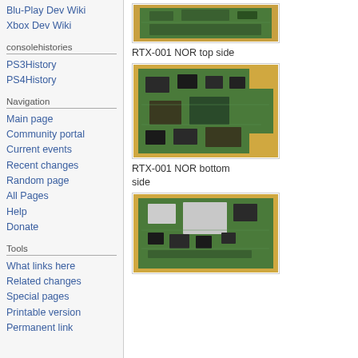Blu-Play Dev Wiki
Xbox Dev Wiki
consolehistories
PS3History
PS4History
Navigation
Main page
Community portal
Current events
Recent changes
Random page
All Pages
Help
Donate
Tools
What links here
Related changes
Special pages
Printable version
Permanent link
[Figure (photo): RTX-001 NOR top side - circuit board photo, top view]
RTX-001 NOR top side
[Figure (photo): RTX-001 NOR bottom side - circuit board photo, bottom view (green PCB with chips)]
RTX-001 NOR bottom side
[Figure (photo): RTX-001 NOR bottom side - another circuit board photo showing chips and components]